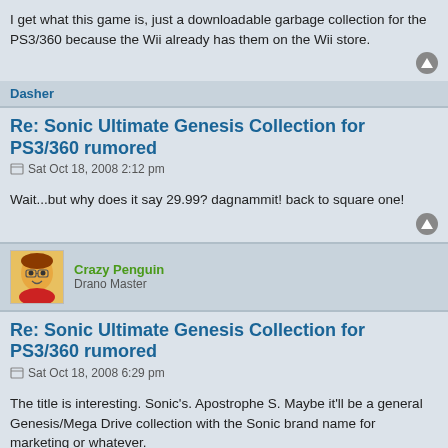I get what this game is, just a downloadable garbage collection for the PS3/360 because the Wii already has them on the Wii store.
Dasher
Re: Sonic Ultimate Genesis Collection for PS3/360 rumored
Sat Oct 18, 2008 2:12 pm
Wait...but why does it say 29.99? dagnammit! back to square one!
Crazy Penguin
Drano Master
Re: Sonic Ultimate Genesis Collection for PS3/360 rumored
Sat Oct 18, 2008 6:29 pm
The title is interesting. Sonic's. Apostrophe S. Maybe it'll be a general Genesis/Mega Drive collection with the Sonic brand name for marketing or whatever.
Dasher